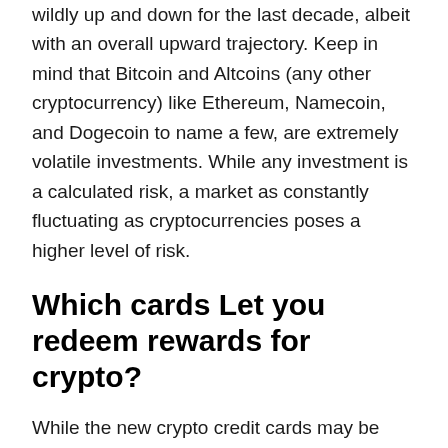wildly up and down for the last decade, albeit with an overall upward trajectory. Keep in mind that Bitcoin and Altcoins (any other cryptocurrency) like Ethereum, Namecoin, and Dogecoin to name a few, are extremely volatile investments. While any investment is a calculated risk, a market as constantly fluctuating as cryptocurrencies poses a higher level of risk.
Which cards Let you redeem rewards for crypto?
While the new crypto credit cards may be intriguing, you don't have to get on the waitlist and wait it out in order to earn rewards good for cryptocurrency, including Bitcoin. The key to